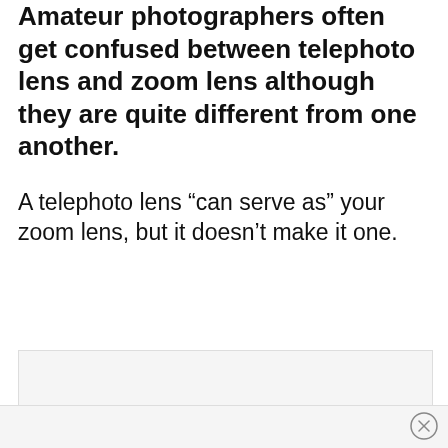Amateur photographers often get confused between telephoto lens and zoom lens although they are quite different from one another.
A telephoto lens “can serve as” your zoom lens, but it doesn’t make it one.